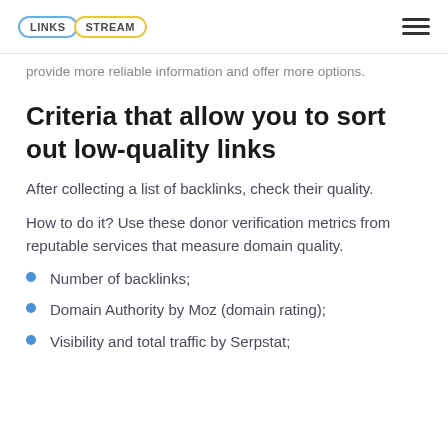LINKS STREAM
provide more reliable information and offer more options.
Criteria that allow you to sort out low-quality links
After collecting a list of backlinks, check their quality.
How to do it? Use these donor verification metrics from reputable services that measure domain quality.
Number of backlinks;
Domain Authority by Moz (domain rating);
Visibility and total traffic by Serpstat;